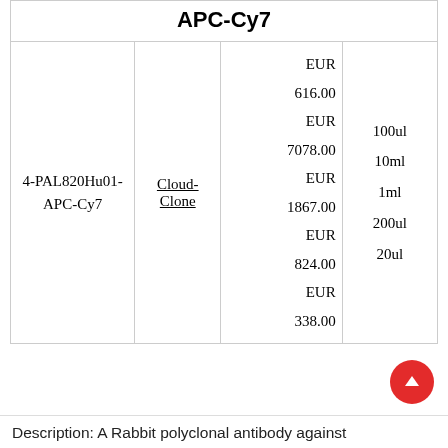| Catalog | Vendor | Price | Size |
| --- | --- | --- | --- |
| 4-PAL820Hu01-APC-Cy7 | Cloud-Clone | EUR 616.00
EUR 7078.00
EUR 1867.00
EUR 824.00
EUR 338.00 | 100ul
10ml
1ml
200ul
20ul |
Description: A Rabbit polyclonal antibody against